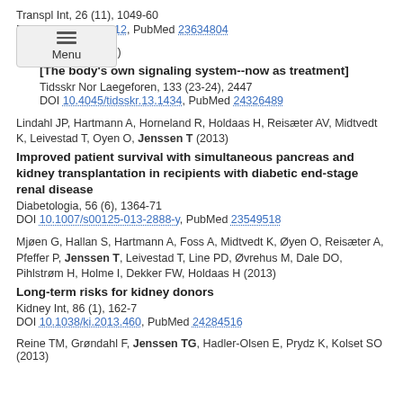Transpl Int, 26 (11), 1049-60
DOI 10.1111/tri.12112, PubMed 23634804
Jansen T (2013)
[The body's own signaling system--now as treatment]
Tidsskr Nor Laegeforen, 133 (23-24), 2447
DOI 10.4045/tidsskr.13.1434, PubMed 24326489
Lindahl JP, Hartmann A, Horneland R, Holdaas H, Reisæter AV, Midtvedt K, Leivestad T, Oyen O, Jenssen T (2013)
Improved patient survival with simultaneous pancreas and kidney transplantation in recipients with diabetic end-stage renal disease
Diabetologia, 56 (6), 1364-71
DOI 10.1007/s00125-013-2888-y, PubMed 23549518
Mjøen G, Hallan S, Hartmann A, Foss A, Midtvedt K, Øyen O, Reisæter A, Pfeffer P, Jenssen T, Leivestad T, Line PD, Øvrehus M, Dale DO, Pihlstrøm H, Holme I, Dekker FW, Holdaas H (2013)
Long-term risks for kidney donors
Kidney Int, 86 (1), 162-7
DOI 10.1038/ki.2013.460, PubMed 24284516
Reine TM, Grøndahl F, Jenssen TG, Hadler-Olsen E, Prydz K, Kolset SO (2013)